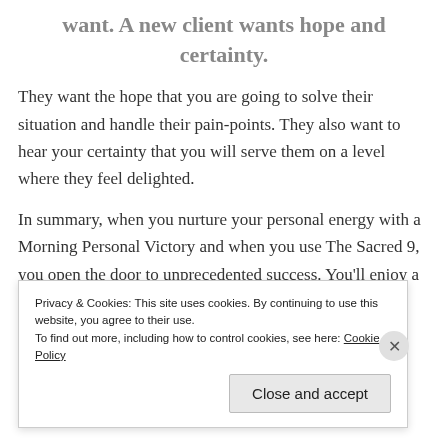want. A new client wants hope and certainty.
They want the hope that you are going to solve their situation and handle their pain-points. They also want to hear your certainty that you will serve them on a level where they feel delighted.
In summary, when you nurture your personal energy with a Morning Personal Victory and when you use The Sacred 9, you open the door to unprecedented success. You’ll enjoy a Boost to Success.
Privacy & Cookies: This site uses cookies. By continuing to use this website, you agree to their use.
To find out more, including how to control cookies, see here: Cookie Policy
Close and accept